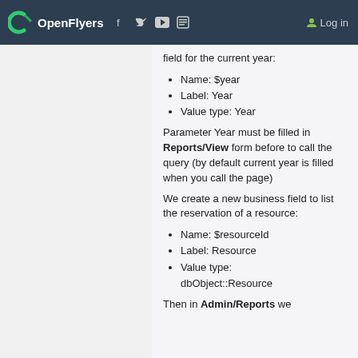OpenFlyers  Log in
field for the current year:
Name: $year
Label: Year
Value type: Year
Parameter Year must be filled in Reports/View form before to call the query (by default current year is filled when you call the page)
We create a new business field to list the reservation of a resource:
Name: $resourceId
Label: Resource
Value type: dbObject::Resource
Then in Admin/Reports we